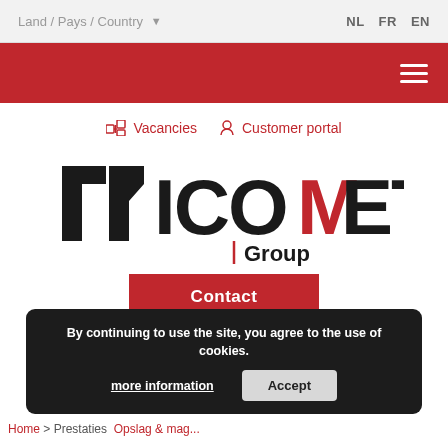Land / Pays / Country ▼    NL  FR  EN
[Figure (logo): Red navigation bar with hamburger menu icon (three white lines) on right side]
Vacancies   Customer portal
[Figure (logo): ICOMET Group logo - black geometric icon on left, large ICOMET text with red M, and Group text below with red vertical bar]
Contact
By continuing to use the site, you agree to the use of cookies.
more information
Accept
Home > Prestaties  >  mag...